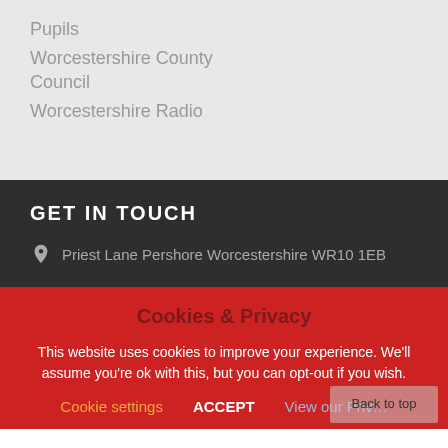Pupils
Worcestershire County Council
Worcestershire Radio
GET IN TOUCH
Priest Lane Pershore Worcestershire WR10 1EB
Cookies & Privacy
This website uses cookies to improve your experience. We'll assume you're ok with this, but you can opt-out if you wish.
Cookie settings   ACCEPT   View our Privacy Policy
Back to top